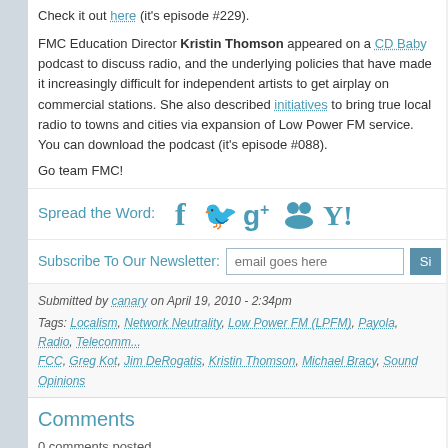Check it out here (it's episode #229).
FMC Education Director Kristin Thomson appeared on a CD Baby podcast to discuss radio, and the underlying policies that have made it increasingly difficult for independent artists to get airplay on commercial stations. She also described initiatives to bring true local radio to towns and cities via expansion of Low Power FM service. You can download the podcast (it's episode #088).
Go team FMC!
Spread the Word:
Subscribe To Our Newsletter:
Submitted by canary on April 19, 2010 - 2:34pm
Tags: Localism, Network Neutrality, Low Power FM (LPFM), Payola, Radio, Telecommunications, FCC, Greg Kot, Jim DeRogatis, Kristin Thomson, Michael Bracy, Sound Opinions
Comments
0 comments posted
Post new comment
Your name